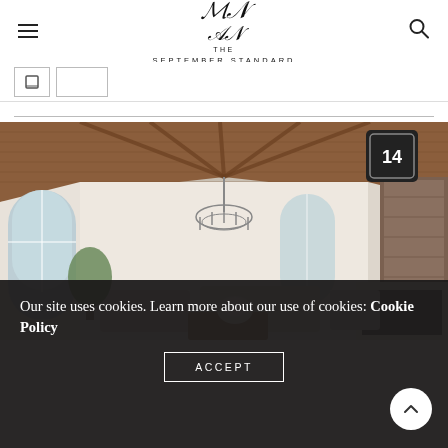THE SEPTEMBER STANDARD
[Figure (photo): Interior of an elegant living room with vaulted wooden beam ceiling, arched windows, chandelier, white sofas, and a fireplace with reclaimed wood mantel. A badge showing '14' appears in the upper right.]
Our site uses cookies. Learn more about our use of cookies: Cookie Policy
ACCEPT